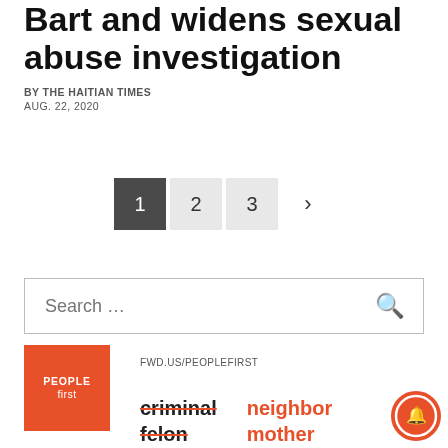Bart and widens sexual abuse investigation
BY THE HAITIAN TIMES
AUG. 22, 2020
[Figure (other): Pagination controls showing pages 1 (active/dark), 2, 3, and a next arrow]
[Figure (other): Search input box with magnifying glass icon]
[Figure (other): People First advertisement with orange logo, FWD.US/PEOPLEFIRST URL, and words 'criminal' and 'felon' struck through with 'neighbor' and 'mother' in orange]
[Figure (other): Notification bell button in bottom right corner]